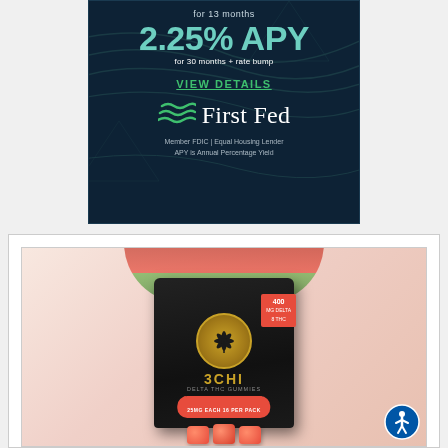[Figure (infographic): First Fed bank advertisement on dark navy background with topo lines. Shows 'for 13 months', '2.25% APY', 'for 30 months + rate bump', 'VIEW DETAILS', First Fed logo with green wave mark, 'Member FDIC | Equal Housing Lender', 'APY is Annual Percentage Yield']
[Figure (photo): 3CHI brand product advertisement showing a black package of Watermelon Delta-8 THC gummies (400mg, 25mg each, 16 per pack) with watermelon imagery and gummy candy displayed in front. Blue accessibility icon in bottom right corner.]